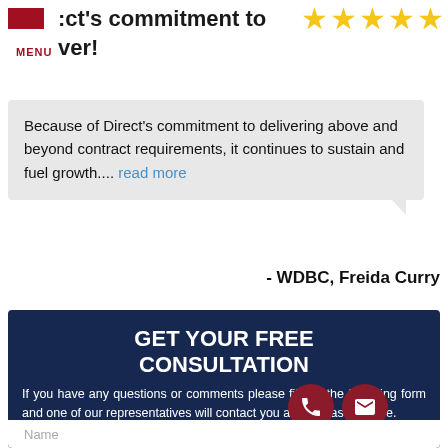ect's commitment to ver! MENU
[Figure (illustration): Five gold/yellow star rating icons]
Because of Direct's commitment to delivering above and beyond contract requirements, it continues to sustain and fuel growth.... read more
- WDBC, Freida Curry
GET YOUR FREE CONSULTATION
If you have any questions or comments please fill out the following form and one of our representatives will contact you as soon as possible.
Name